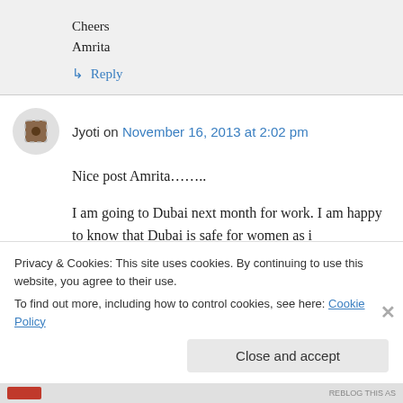Cheers
Amrita
↳ Reply
Jyoti on November 16, 2013 at 2:02 pm
Nice post Amrita……..
I am going to Dubai next month for work. I am happy to know that Dubai is safe for women as i
Privacy & Cookies: This site uses cookies. By continuing to use this website, you agree to their use.
To find out more, including how to control cookies, see here: Cookie Policy
Close and accept